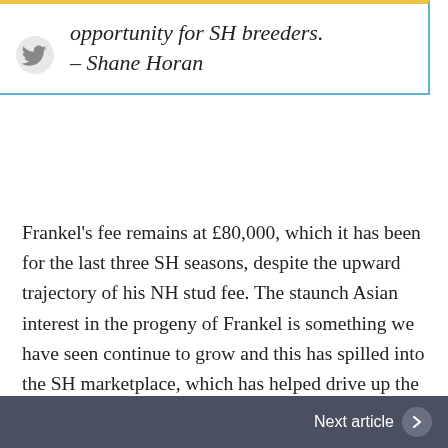opportunity for SH breeders. - Shane Horan
Frankel's fee remains at £80,000, which it has been for the last three SH seasons, despite the upward trajectory of his NH stud fee. The staunch Asian interest in the progeny of Frankel is something we have seen continue to grow and this has spilled into the SH marketplace, which has helped drive up the prices of his yearlings. First and foremost, it has always been Juddmonte's aim to offer good value to breeders. We firmly believe Frankel's 2018 fee represents great value and
Next article